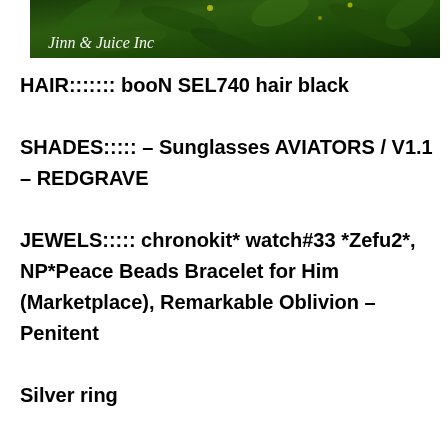[Figure (photo): Dark green foliage background banner image with text 'Jinn & Juice Inc' in white cursive script at the bottom left]
HAIR::::::: booN SEL740 hair black

SHADES::::: – Sunglasses AVIATORS / V1.1 – REDGRAVE

JEWELS::::: chronokit* watch#33 *Zefu2*, NP*Peace Beads Bracelet for Him (Marketplace), Remarkable Oblivion – Penitent

Silver ring